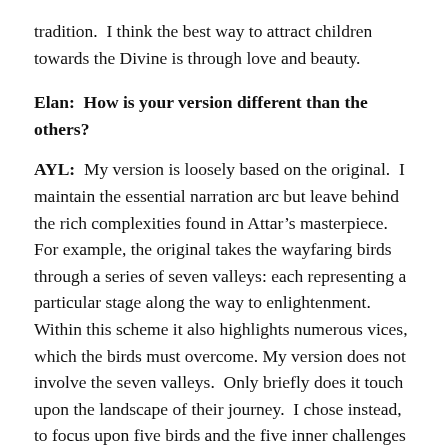tradition.  I think the best way to attract children towards the Divine is through love and beauty.
Elan:  How is your version different than the others?
AYL:  My version is loosely based on the original.  I maintain the essential narration arc but leave behind the rich complexities found in Attar’s masterpiece.  For example, the original takes the wayfaring birds through a series of seven valleys: each representing a particular stage along the way to enlightenment.  Within this scheme it also highlights numerous vices, which the birds must overcome. My version does not involve the seven valleys.  Only briefly does it touch upon the landscape of their journey.  I chose instead, to focus upon five birds and the five inner challenges they face. These challenges are tendencies to which all children can relate (laziness, attachment to worldly